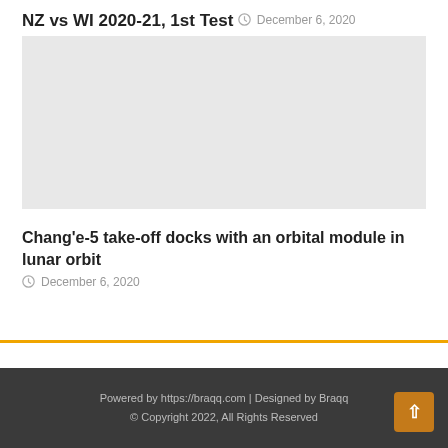NZ vs WI 2020-21, 1st Test
December 6, 2020
[Figure (photo): Placeholder image (light gray rectangle)]
Chang'e-5 take-off docks with an orbital module in lunar orbit
December 6, 2020
Powered by https://braqq.com | Designed by Braqq © Copyright 2022, All Rights Reserved